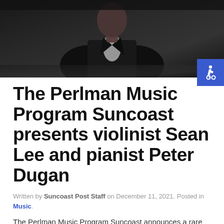[Figure (photo): A man in a dark suit photographed from chest up against a dark background, likely a musician portrait]
The Perlman Music Program Suncoast presents violinist Sean Lee and pianist Peter Dugan
Written by Suncoast Post Staff on December 11, 2021. Posted in Music.
The Perlman Music Program Suncoast announces a rare and unique opportunity to experience The Perlman...